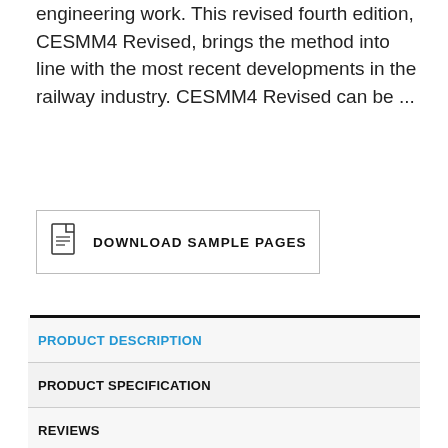engineering work. This revised fourth edition, CESMM4 Revised, brings the method into line with the most recent developments in the railway industry. CESMM4 Revised can be ...
[Figure (other): Download Sample Pages button with PDF icon and border]
PRODUCT DESCRIPTION
PRODUCT SPECIFICATION
REVIEWS
The Civil Engineering Standard Method of Measurement – CESMM – has been well established for over 40 years as the standard for the preparation of bills of quantities in civil engineering work. This revised